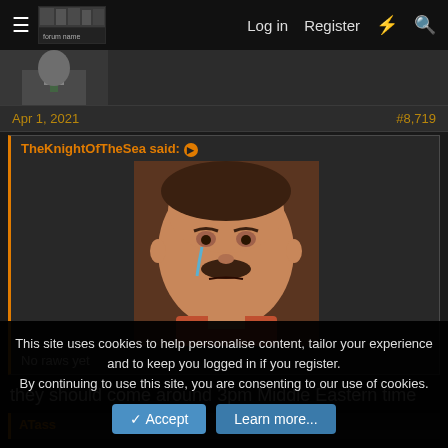Log in   Register
[Figure (photo): Grayscale avatar photo of a person in a suit with a green tie, partially visible at the bottom of the header area]
Apr 1, 2021   #8,719
TheKnightOfTheSea said:
[Figure (photo): Meme image of a mustachioed man crying, used as a reaction image]
No raws yet
they should come around 3pm Middle Eastern time
This site uses cookies to help personalise content, tailor your experience and to keep you logged in if you register.
By continuing to use this site, you are consenting to our use of cookies.